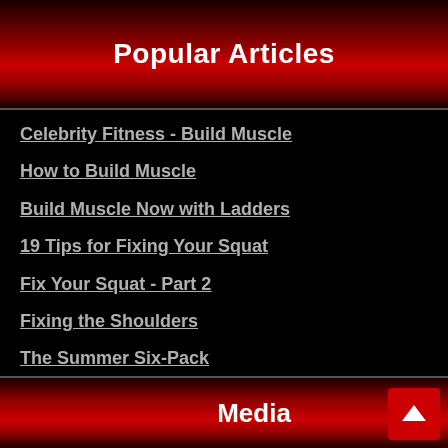Popular Articles
Celebrity Fitness - Build Muscle
How to Build Muscle
Build Muscle Now with Ladders
19 Tips for Fixing Your Squat
Fix Your Squat - Part 2
Fixing the Shoulders
The Summer Six-Pack
Keys for the Hard Gainer
Improving Your Deadlift Grip
Top 5 Core Exercises
Media